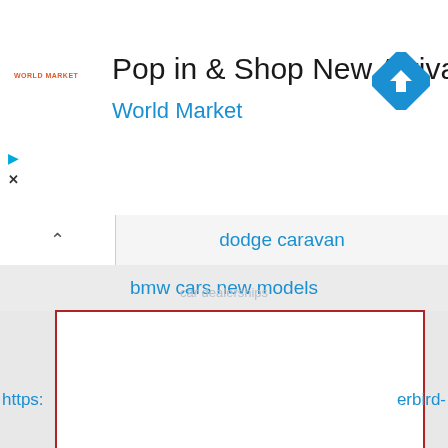[Figure (screenshot): Advertisement banner for World Market with logo, title text 'Pop in & Shop New Arrivals', subtitle 'World Market', and a blue diamond navigation icon on the right.]
dodge caravan
bmw cars new models
[Figure (other): White rectangular content area with dark red/maroon border, empty content.]
https:
erbird-